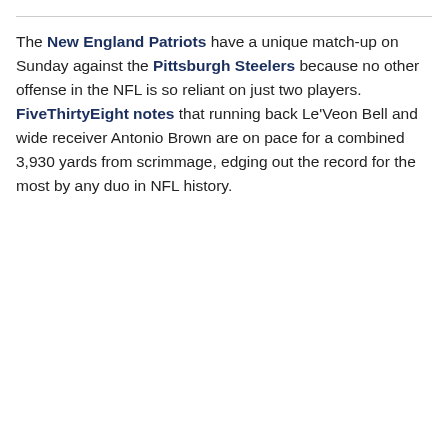The New England Patriots have a unique match-up on Sunday against the Pittsburgh Steelers because no other offense in the NFL is so reliant on just two players. FiveThirtyEight notes that running back Le'Veon Bell and wide receiver Antonio Brown are on pace for a combined 3,930 yards from scrimmage, edging out the record for the most by any duo in NFL history.